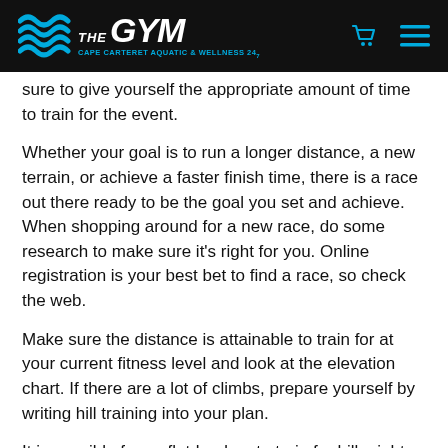[Figure (logo): The GYM - Cape Carteret Aquatic & Wellness logo on black header bar with cart and menu icons]
sure to give yourself the appropriate amount of time to train for the event.
Whether your goal is to run a longer distance, a new terrain, or achieve a faster finish time, there is a race out there ready to be the goal you set and achieve. When shopping around for a new race, do some research to make sure it's right for you. Online registration is your best bet to find a race, so check the web.
Make sure the distance is attainable to train for at your current fitness level and look at the elevation chart. If there are a lot of climbs, prepare yourself by writing hill training into your plan.
It is possible for us flat-landers to train for hills right